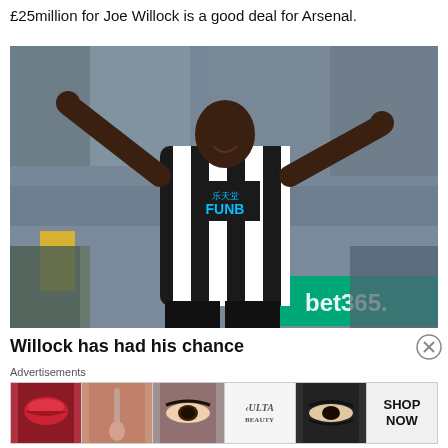£25million for Joe Willock is a good deal for Arsenal.
[Figure (photo): Joe Willock in Newcastle United black and white striped jersey with FUNBET sponsor, arms outstretched celebrating, crowd in background, bet365 advertising board visible]
Willock has had his chance
Advertisements
[Figure (other): ULTA Beauty advertisement banner showing makeup product images - lips, brush, eye makeup, ULTA logo, dramatic eyes, and SHOP NOW call to action]